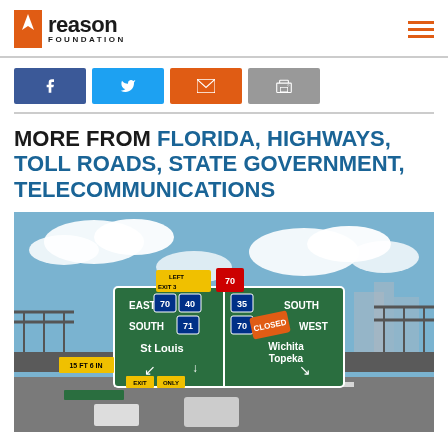Reason Foundation
[Figure (logo): Reason Foundation logo with orange flame icon]
[Figure (infographic): Social sharing buttons: Facebook (blue), Twitter (cyan), Email (orange), Print (gray)]
MORE FROM FLORIDA, HIGHWAYS, TOLL ROADS, STATE GOVERNMENT, TELECOMMUNICATIONS
[Figure (photo): Highway interchange photo showing green directional signs for East 70, 40, South 71 to St Louis, and 35 South, 70 West (Closed) to Wichita/Topeka]